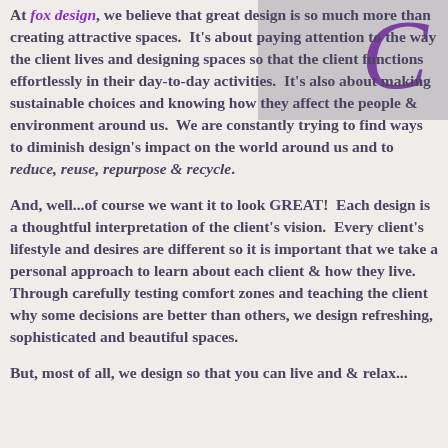[Figure (illustration): Gray background box in upper right corner with a purple cursive letter partially visible]
At fox design, we believe that great design is so much more than creating attractive spaces.  It's about paying attention to the way the client lives and designing spaces so that the client functions effortlessly in their day-to-day activities.  It's also about making sustainable choices and knowing how they affect the people & environment around us.  We are constantly trying to find ways to diminish design's impact on the world around us and to reduce, reuse, repurpose & recycle.
And, well...of course we want it to look GREAT!  Each design is a thoughtful interpretation of the client's vision.  Every client's lifestyle and desires are different so it is important that we take a personal approach to learn about each client & how they live.  Through carefully testing comfort zones and teaching the client why some decisions are better than others, we design refreshing, sophisticated and beautiful spaces.
But, most of all, we design so that you can live and & relax...